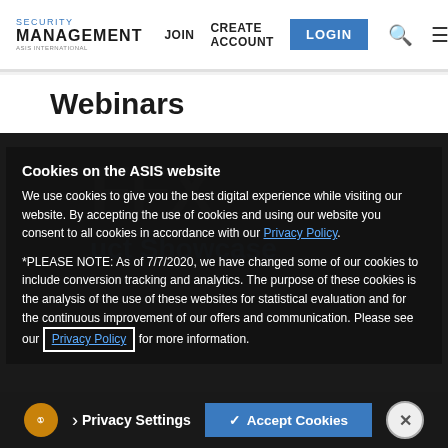SECURITY MANAGEMENT | JOIN  CREATE ACCOUNT  LOGIN
Webinars
Cookies on the ASIS website
We use cookies to give you the best digital experience while visiting our website. By accepting the use of cookies and using our website you consent to all cookies in accordance with our Privacy Policy.
*PLEASE NOTE: As of 7/7/2020, we have changed some of our cookies to include conversion tracking and analytics. The purpose of these cookies is the analysis of the use of these websites for statistical evaluation and for the continuous improvement of our offers and communication. Please see our Privacy Policy for more information.
Privacy Settings  ✓ Accept Cookies  ✕